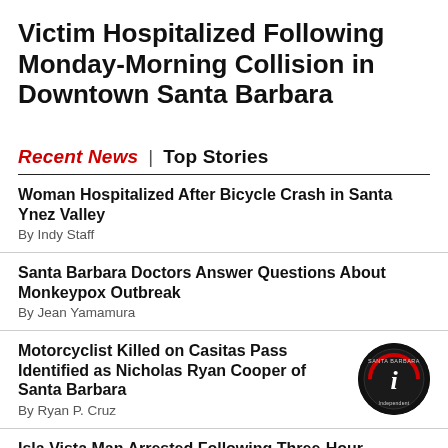Victim Hospitalized Following Monday-Morning Collision in Downtown Santa Barbara
Recent News | Top Stories
Woman Hospitalized After Bicycle Crash in Santa Ynez Valley
By Indy Staff
Santa Barbara Doctors Answer Questions About Monkeypox Outbreak
By Jean Yamamura
Motorcyclist Killed on Casitas Pass Identified as Nicholas Ryan Cooper of Santa Barbara
By Ryan P. Cruz
Isla Vista Man Arrested Following Three-Hour Standoff